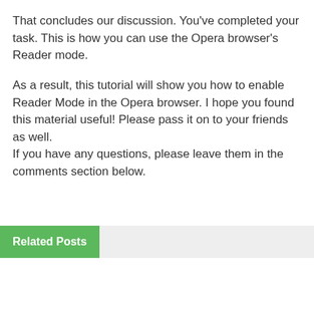That concludes our discussion. You've completed your task. This is how you can use the Opera browser's Reader mode.
As a result, this tutorial will show you how to enable Reader Mode in the Opera browser. I hope you found this material useful! Please pass it on to your friends as well.
If you have any questions, please leave them in the comments section below.
Related Posts
INTERNET